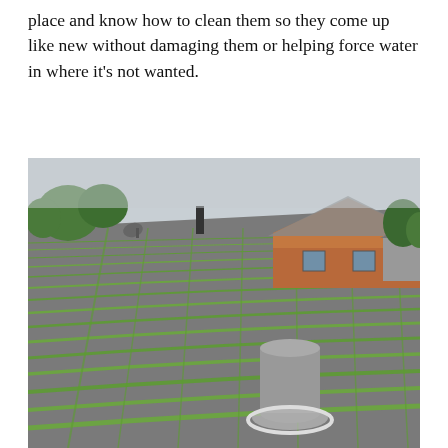place and know how to clean them so they come up like new without damaging them or helping force water in where it's not wanted.
[Figure (photo): Aerial close-up photograph of a sloped residential roof covered with green moss growing along the rows of asphalt shingles, with a gray cylindrical vent pipe in the foreground and a neighboring wood-sided house visible in the background under an overcast sky.]